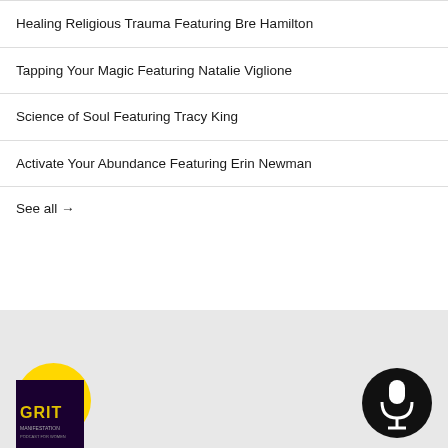Healing Religious Trauma Featuring Bre Hamilton
Tapping Your Magic Featuring Natalie Viglione
Science of Soul Featuring Tracy King
Activate Your Abundance Featuring Erin Newman
See all →
[Figure (logo): Yellow circle coffee cup badge icon with dark brown coffee cup illustration]
[Figure (logo): Dark purple/black podcast logo with text GRIT and additional text]
[Figure (logo): Black circle microphone badge icon with white microphone illustration]